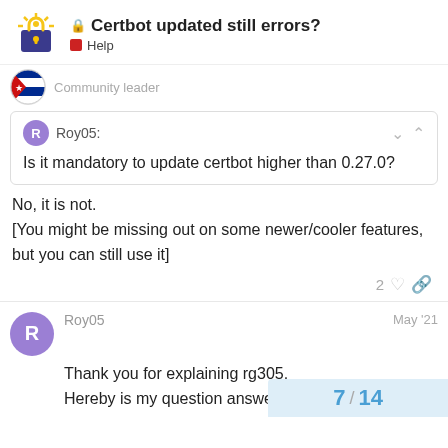Certbot updated still errors? — Help
Community leader
Roy05: Is it mandatory to update certbot higher than 0.27.0?
No, it is not.
[You might be missing out on some newer/cooler features, but you can still use it]
Roy05  May '21
Thank you for explaining rg305.
Hereby is my question answered.
7 / 14